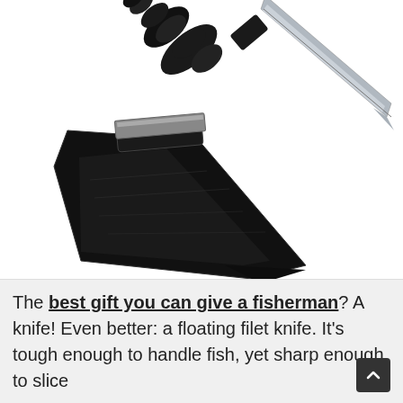[Figure (photo): A fillet knife with a black ergonomic handle and a long silver blade, shown next to a black sheath/scabbard. The knife is positioned diagonally above and to the right, with the sheath below and to the left. Both are displayed against a white background.]
The best gift you can give a fisherman? A knife! Even better: a floating filet knife. It's tough enough to handle fish, yet sharp enough to slice